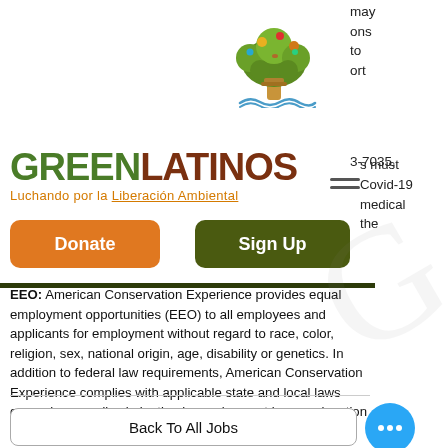[Figure (logo): GreenLatinos tree logo illustration]
may
ons
to
ort
3-7035.
[Figure (logo): GREEN LATINOS - Luchando por la Liberación Ambiental logo text]
s must
Covid-19
medical
the
Donate
Sign Up
EEO: American Conservation Experience provides equal employment opportunities (EEO) to all employees and applicants for employment without regard to race, color, religion, sex, national origin, age, disability or genetics. In addition to federal law requirements, American Conservation Experience complies with applicable state and local laws governing non-discrimination in employment in every location in which the company has facilities.
Back To All Jobs